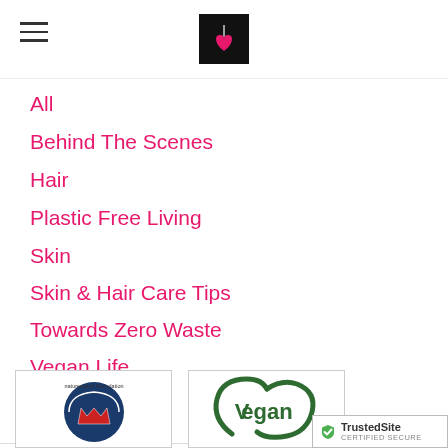All
Behind The Scenes
Hair
Plastic Free Living
Skin
Skin & Hair Care Tips
Towards Zero Waste
Vegan Life
RSS Feed
[Figure (logo): Naturewatch Foundation logo — circular badge with blue background and red/white stylized figure design]
[Figure (logo): Vegan certification logo — green circular leaf/checkmark design with text 'Vegan']
[Figure (logo): TrustedSite Certified Secure badge]